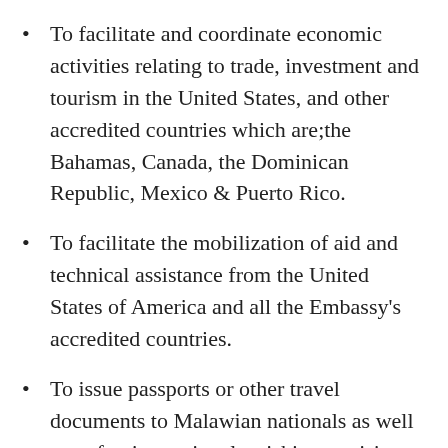To facilitate and coordinate economic activities relating to trade, investment and tourism in the United States, and other accredited countries which are;the Bahamas, Canada, the Dominican Republic, Mexico & Puerto Rico.
To facilitate the mobilization of aid and technical assistance from the United States of America and all the Embassy’s accredited countries.
To issue passports or other travel documents to Malawian nationals as well as to foreign nationals wishing to visit or reside in Malawi.
To assist with national or country matters (partial, cut off at bottom)